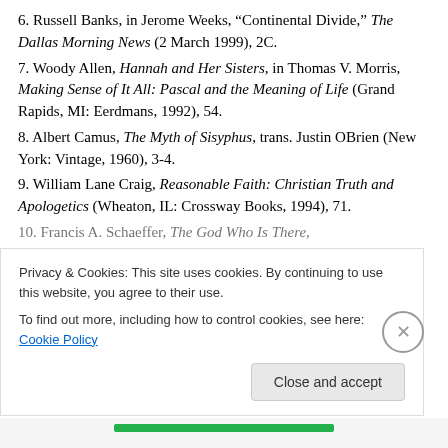6. Russell Banks, in Jerome Weeks, “Continental Divide,” The Dallas Morning News (2 March 1999), 2C.
7. Woody Allen, Hannah and Her Sisters, in Thomas V. Morris, Making Sense of It All: Pascal and the Meaning of Life (Grand Rapids, MI: Eerdmans, 1992), 54.
8. Albert Camus, The Myth of Sisyphus, trans. Justin OBrien (New York: Vintage, 1960), 3-4.
9. William Lane Craig, Reasonable Faith: Christian Truth and Apologetics (Wheaton, IL: Crossway Books, 1994), 71.
10. Francis A. Schaeffer, The God Who Is There,
Privacy & Cookies: This site uses cookies. By continuing to use this website, you agree to their use. To find out more, including how to control cookies, see here: Cookie Policy